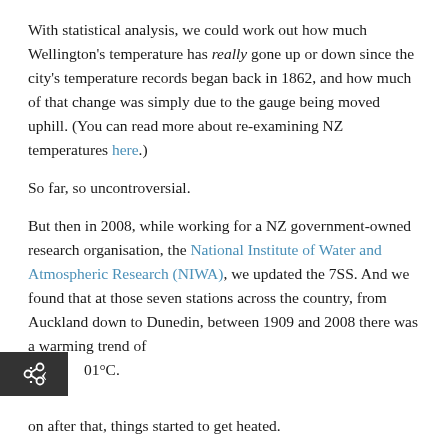With statistical analysis, we could work out how much Wellington's temperature has really gone up or down since the city's temperature records began back in 1862, and how much of that change was simply due to the gauge being moved uphill. (You can read more about re-examining NZ temperatures here.)
So far, so uncontroversial.
But then in 2008, while working for a NZ government-owned research organisation, the National Institute of Water and Atmospheric Research (NIWA), we updated the 7SS. And we found that at those seven stations across the country, from Auckland down to Dunedin, between 1909 and 2008 there was a warming trend of …01°C.
on after that, things started to get heated.